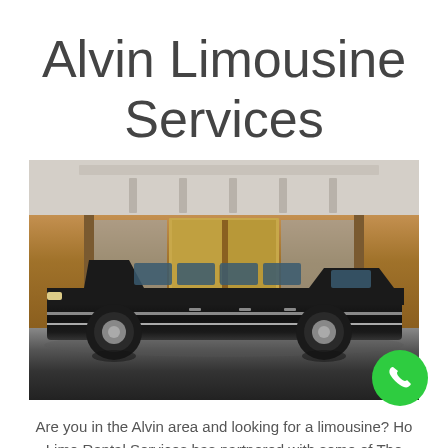Alvin Limousine Services
[Figure (photo): A black stretch limousine parked in front of a modern building entrance with wood paneling and glass doors, with wet floor reflection visible]
Are you in the Alvin area and looking for a limousine?  Ho... Limo Rental Services has partnered with some of The Best